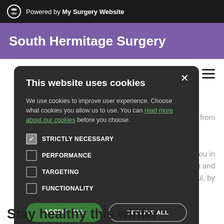Powered by My Surgery Website
South Hermitage Surgery
[Figure (screenshot): Cookie consent modal dialog on South Hermitage Surgery website. Contains title 'This website uses cookies', descriptive text with a link 'read more about our cookies', four checkbox options (STRICTLY NECESSARY checked, PERFORMANCE unchecked, TARGETING unchecked, FUNCTIONALITY unchecked), and two buttons: ACCEPT ALL and DECLINE ALL.]
eceive, is from
pointing you in
o protect and
ces helpful, by
Stay healthy this winter